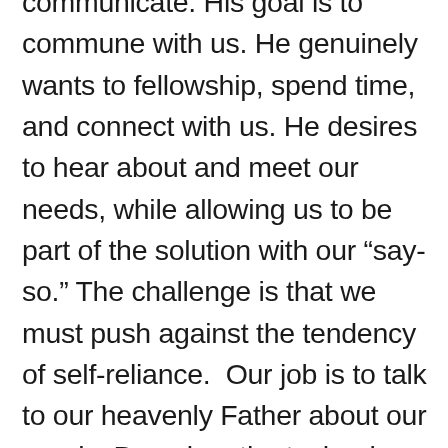Our loving Father is teaching us how to communicate. His goal is to commune with us. He genuinely wants to fellowship, spend time, and connect with us. He desires to hear about and meet our needs, while allowing us to be part of the solution with our “say-so.” The challenge is that we must push against the tendency of self-reliance.  Our job is to talk to our heavenly Father about our needs. Based on the technology and progress of modern society, it can be challenging to trust God for our daily needs. Jesus shows us it is important to trust and to remember that meeting our needs is God’s gift!